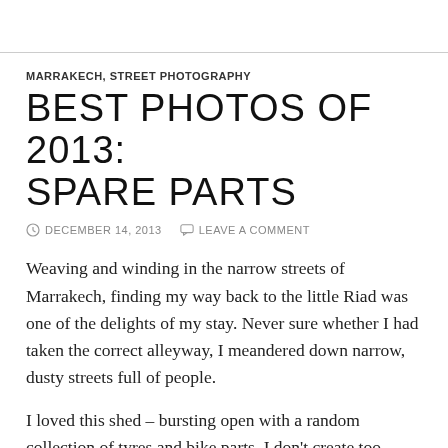MARRAKECH, STREET PHOTOGRAPHY
BEST PHOTOS OF 2013: SPARE PARTS
DECEMBER 14, 2013   LEAVE A COMMENT
Weaving and winding in the narrow streets of Marrakech, finding my way back to the little Riad was one of the delights of my stay. Never sure whether I had taken the correct alleyway, I meandered down narrow, dusty streets full of people.
I loved this shed – bursting open with a random collection of tyres and bike parts. I don't create too many black and white photos but this one called for it, so that the textures and tangles became the focus rather than a mess of colours.